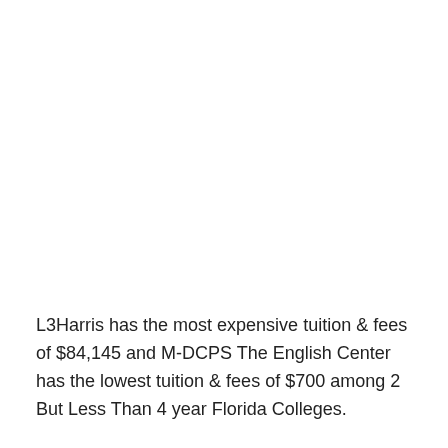L3Harris has the most expensive tuition & fees of $84,145 and M-DCPS The English Center has the lowest tuition & fees of $700 among 2 But Less Than 4 year Florida Colleges.